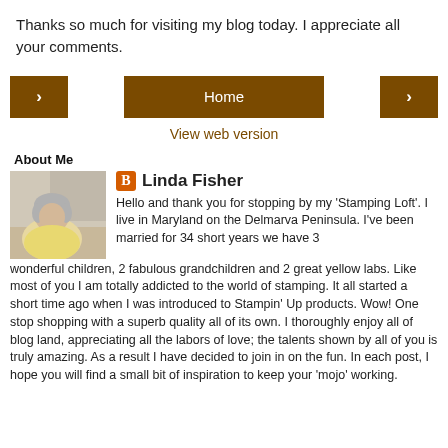Thanks so much for visiting my blog today. I appreciate all your comments.
[Figure (other): Navigation bar with left arrow button, Home button, and right arrow button in brown/dark orange color]
View web version
About Me
[Figure (photo): Photo of Linda Fisher, an older woman with gray hair, sitting and smiling]
Linda Fisher
Hello and thank you for stopping by my 'Stamping Loft'. I live in Maryland on the Delmarva Peninsula. I've been married for 34 short years we have 3 wonderful children, 2 fabulous grandchildren and 2 great yellow labs. Like most of you I am totally addicted to the world of stamping. It all started a short time ago when I was introduced to Stampin' Up products. Wow! One stop shopping with a superb quality all of its own. I thoroughly enjoy all of blog land, appreciating all the labors of love; the talents shown by all of you is truly amazing. As a result I have decided to join in on the fun. In each post, I hope you will find a small bit of inspiration to keep your 'mojo' working.